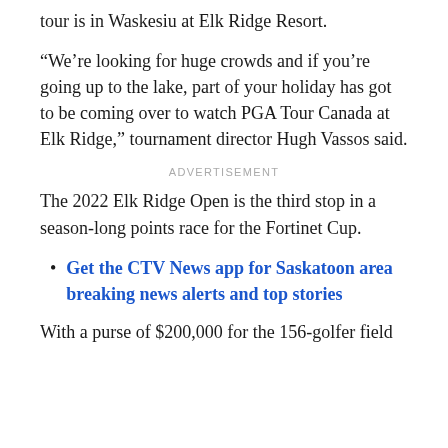tour is in Waskesiu at Elk Ridge Resort.
“We’re looking for huge crowds and if you’re going up to the lake, part of your holiday has got to be coming over to watch PGA Tour Canada at Elk Ridge,” tournament director Hugh Vassos said.
ADVERTISEMENT
The 2022 Elk Ridge Open is the third stop in a season-long points race for the Fortinet Cup.
Get the CTV News app for Saskatoon area breaking news alerts and top stories
With a purse of $200,000 for the 156-golfer field